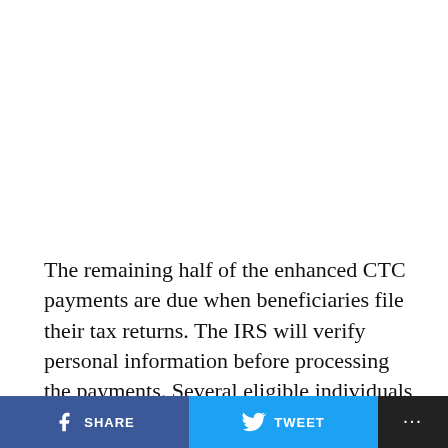The remaining half of the enhanced CTC payments are due when beneficiaries file their tax returns. The IRS will verify personal information before processing the payments. Several eligible individuals missed out on eligible payments due to old or inaccurate data. Taxpayers need to read the letters carefully to know the complete details. The government officials will provide
SHARE  TWEET  ...